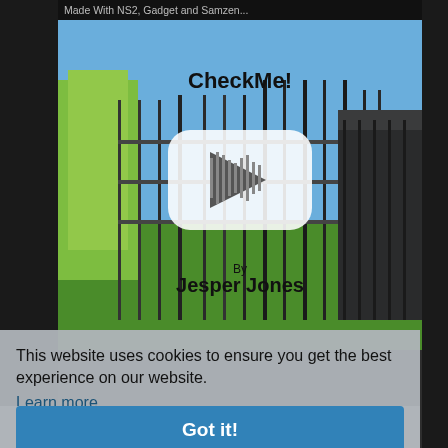Made With NS2, Gadget and Samzen...
[Figure (screenshot): Video thumbnail showing outdoor scene with metal fence and shed, with YouTube play button overlay. Text reads 'CheckMe!' at top and 'By Jesper Jones' at bottom.]
This website uses cookies to ensure you get the best experience on our website.
Learn more
Got it!